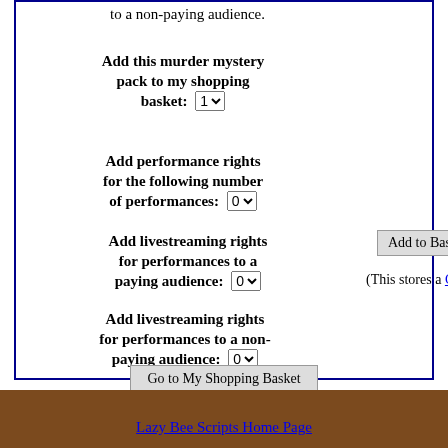to a non-paying audience.
Add this murder mystery pack to my shopping basket: [dropdown: 1]
Add performance rights for the following number of performances: [dropdown: 0]
Add livestreaming rights for performances to a paying audience: [dropdown: 0]
Add livestreaming rights for performances to a non-paying audience: [dropdown: 0]
Add to Basket
(This stores a Cookie)
Go to My Shopping Basket
(This uses a Cookie.)
Share this page with your friends / followers
Tweet
Lazy Bee Scripts Home Page